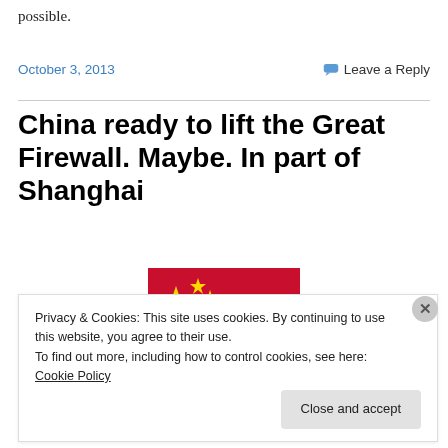possible.
October 3, 2013
Leave a Reply
China ready to lift the Great Firewall. Maybe. In part of Shanghai
[Figure (illustration): Chinese national flag (red background with large yellow star and four smaller yellow stars)]
Privacy & Cookies: This site uses cookies. By continuing to use this website, you agree to their use.
To find out more, including how to control cookies, see here: Cookie Policy
Close and accept